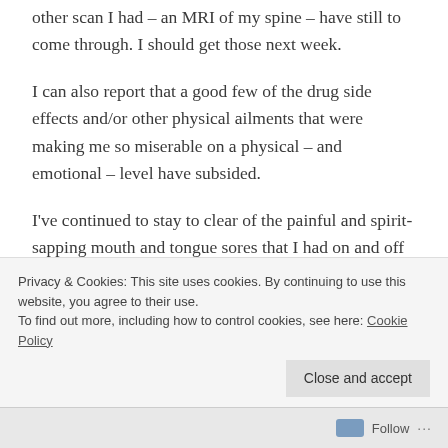other scan I had – an MRI of my spine – have still to come through. I should get those next week.
I can also report that a good few of the drug side effects and/or other physical ailments that were making me so miserable on a physical – and emotional – level have subsided.
I've continued to stay to clear of the painful and spirit-sapping mouth and tongue sores that I had on and off during the first and second
Privacy & Cookies: This site uses cookies. By continuing to use this website, you agree to their use.
To find out more, including how to control cookies, see here: Cookie Policy
Follow